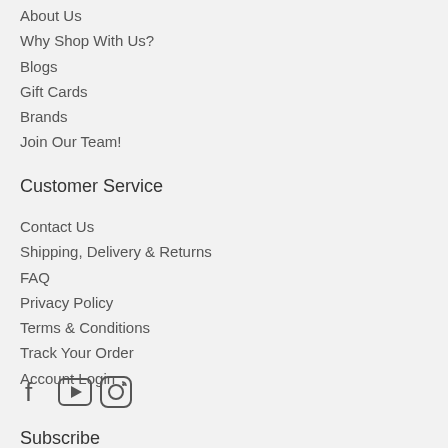About Us
Why Shop With Us?
Blogs
Gift Cards
Brands
Join Our Team!
Customer Service
Contact Us
Shipping, Delivery & Returns
FAQ
Privacy Policy
Terms & Conditions
Track Your Order
Account Login
[Figure (illustration): Social media icons: Facebook, YouTube, Instagram]
Subscribe